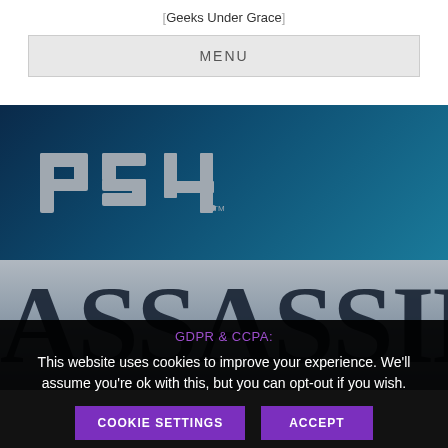Geeks Under Grace
MENU
[Figure (logo): PS4 logo in white/silver on dark navy-to-teal gradient background]
[Figure (screenshot): Assassin's Creed title text on grey/blue background, showing 'ASSASSIN'S' in large bold serif font]
GDPR & CCPA:
This website uses cookies to improve your experience. We'll assume you're ok with this, but you can opt-out if you wish.
COOKIE SETTINGS    ACCEPT